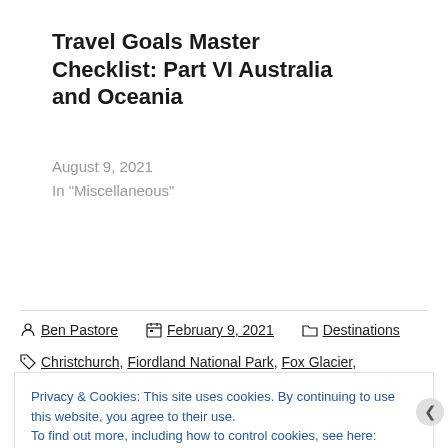Travel Goals Master Checklist: Part VI Australia and Oceania
August 9, 2021
In "Miscellaneous"
Ben Pastore   February 9, 2021   Destinations
Christchurch, Fiordland National Park, Fox Glacier,
Privacy & Cookies: This site uses cookies. By continuing to use this website, you agree to their use.
To find out more, including how to control cookies, see here: Cookie Policy